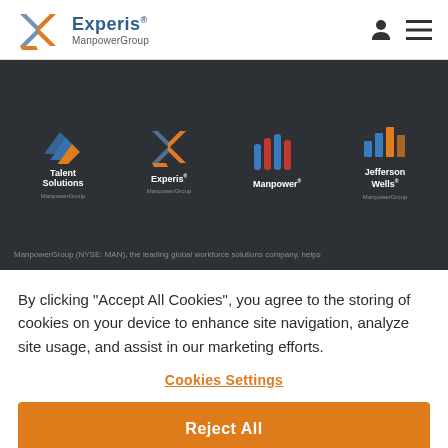[Figure (logo): Experis ManpowerGroup logo in the page header]
[Figure (screenshot): Dark banner with four brand logos: Talent Solutions ManpowerGroup, Experis ManpowerGroup, Manpower, Jefferson Wells ManpowerGroup]
ManpowerGroup (NYSE: MAN), the leading global workforce solutions company, helps
By clicking "Accept All Cookies", you agree to the storing of cookies on your device to enhance site navigation, analyze site usage, and assist in our marketing efforts.
Cookies Settings
Reject All